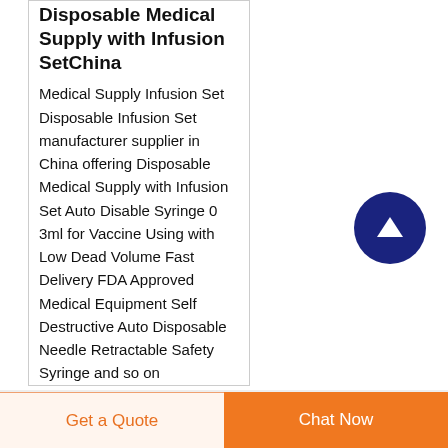Disposable Medical Supply with Infusion SetChina
Medical Supply Infusion Set Disposable Infusion Set manufacturer supplier in China offering Disposable Medical Supply with Infusion Set Auto Disable Syringe 0 3ml for Vaccine Using with Low Dead Volume Fast Delivery FDA Approved Medical Equipment Self Destructive Auto Disposable Needle Retractable Safety Syringe and so on
[Figure (other): Dark navy blue circular scroll-to-top button with upward arrow icon]
Get a Quote
Chat Now